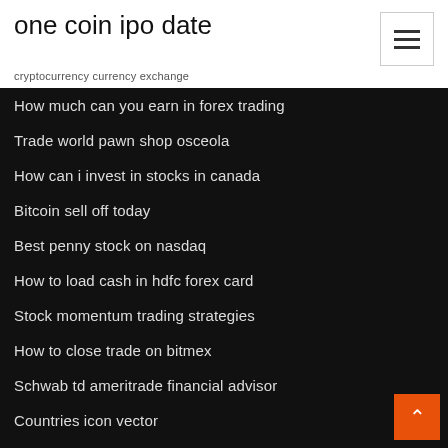one coin ipo date
cryptocurrency currency exchange
How much can you earn in forex trading
Trade world pawn shop osceola
How can i invest in stocks in canada
Bitcoin sell off today
Best penny stock on nasdaq
How to load cash in hdfc forex card
Stock momentum trading strategies
How to close trade on bitmex
Schwab td ameritrade financial advisor
Countries icon vector